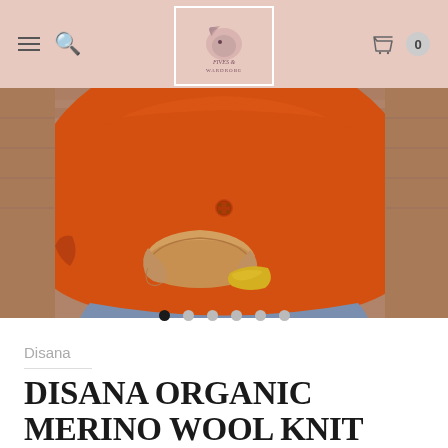Fives & Wardrobe – navigation bar with hamburger menu, search icon, logo, cart icon, and cart count 0
[Figure (photo): Close-up photo of a child wearing an orange merino wool coat, holding a wooden bowl on their lap. A yellow knitted item is visible in the bowl. The child is sitting on a wooden surface.]
● ○ ○ ○ ○ ○ (carousel navigation dots, first dot active)
Disana
DISANA ORGANIC MERINO WOOL KNIT LOOP SCARF